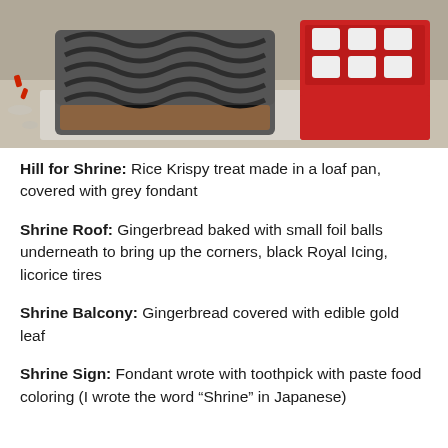[Figure (photo): Photo of two gingerbread/food constructions on a table: one covered in black and grey striped fondant resembling a roof, and another red house-shaped structure with white marshmallow decorations.]
Hill for Shrine: Rice Krispy treat made in a loaf pan, covered with grey fondant
Shrine Roof: Gingerbread baked with small foil balls underneath to bring up the corners, black Royal Icing, licorice tires
Shrine Balcony: Gingerbread covered with edible gold leaf
Shrine Sign: Fondant wrote with toothpick with paste food coloring (I wrote the word “Shrine” in Japanese)